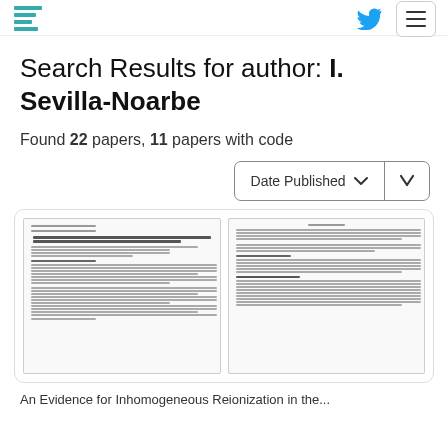Papers With Code - Search Results for author: I. Sevilla-Noarbe
Search Results for author: I. Sevilla-Noarbe
Found 22 papers, 11 papers with code
[Figure (screenshot): Dropdown sort control labeled 'Date Published' with a chevron and a separate down-arrow button]
[Figure (screenshot): Preview of a scientific paper showing two pages side by side with dense text content]
An Evidence for Inhomogeneous Reionization in the...